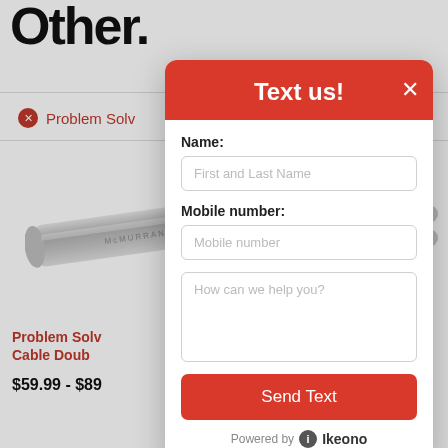Other.
Problem Solv
[Figure (screenshot): Modal dialog overlay on a shopping website showing a 'Text us!' chat widget with fields for Name, Mobile number, and a message textarea, plus a Send Text button and 'Powered by Ikeono' footer.]
Problem Solv
Cable Doub
$59.99 - $89